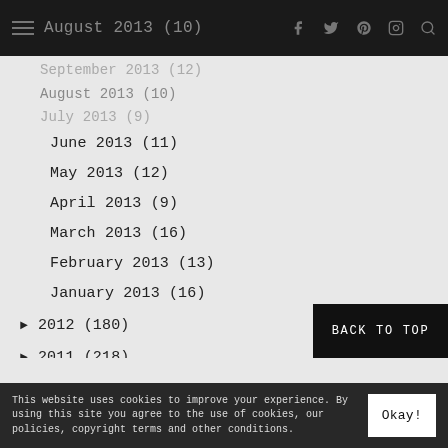August 2013 (10)  [nav icons: f, twitter, p, instagram, search]
September 2013 (partially visible)
August 2013 (10)
July 2013 (9)
June 2013 (11)
May 2013 (12)
April 2013 (9)
March 2013 (16)
February 2013 (13)
January 2013 (16)
► 2012 (180)
► 2011 (218)
► 2010 (103)
BACK TO TOP
This website uses cookies to improve your experience. By using this site you agree to the use of cookies, our policies, copyright terms and other conditions.  [Okay! button]